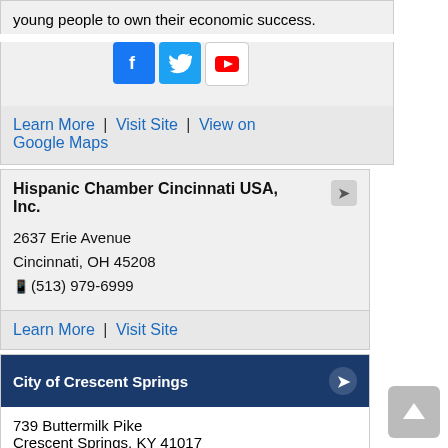young people to own their economic success.
[Figure (other): Social media icons: Facebook, Twitter, YouTube]
Learn More | Visit Site | View on Google Maps
Hispanic Chamber Cincinnati USA, Inc.
2637 Erie Avenue
Cincinnati, OH 45208
(513) 979-6999
Learn More | Visit Site
City of Crescent Springs
739 Buttermilk Pike
Crescent Springs, KY 41017